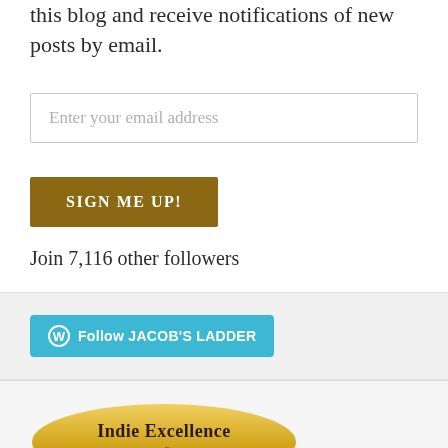this blog and receive notifications of new posts by email.
[Figure (screenshot): Email input field with placeholder text 'Enter your email address']
[Figure (screenshot): Gold/brown 'SIGN ME UP!' button]
Join 7,116 other followers
[Figure (screenshot): Blue 'Follow JACOB'S LADDER' WordPress follow button with WordPress circle icon]
[Figure (logo): Indie Excellence award badge - gold oval with text 'Indie Excellence']